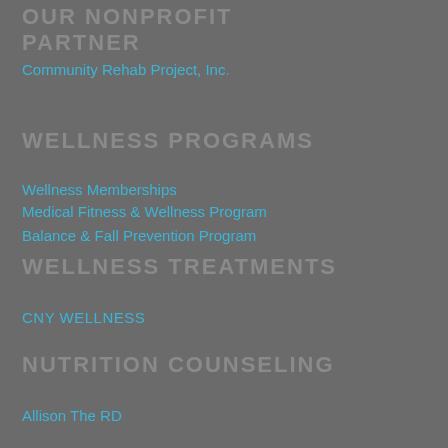OUR NONPROFIT PARTNER
Community Rehab Project, Inc.
WELLNESS PROGRAMS
Wellness Memberships
Medical Fitness & Wellness Program
Balance & Fall Prevention Program
WELLNESS TREATMENTS
CNY WELLNESS
NUTRITION COUNSELING
Allison The RD